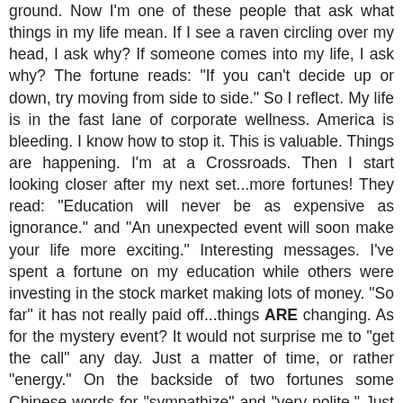ground. Now I'm one of these people that ask what things in my life mean. If I see a raven circling over my head, I ask why? If someone comes into my life, I ask why? The fortune reads: "If you can't decide up or down, try moving from side to side." So I reflect. My life is in the fast lane of corporate wellness. America is bleeding. I know how to stop it. This is valuable. Things are happening. I'm at a Crossroads. Then I start looking closer after my next set...more fortunes! They read: "Education will never be as expensive as ignorance." and "An unexpected event will soon make your life more exciting." Interesting messages. I've spent a fortune on my education while others were investing in the stock market making lots of money. "So far" it has not really paid off...things ARE changing. As for the mystery event? It would not surprise me to "get the call" any day. Just a matter of time, or rather "energy." On the backside of two fortunes some Chinese words for "sympathize" and "very polite." Just senseless trash left by eco-clueless litterbugs? Maybe. Maybe not. Believe what you will. I think there are something to universal signs. I'm listening...
And the KBs! Been spending more energy on working form instead of VO2Max. Really getting my technique down--